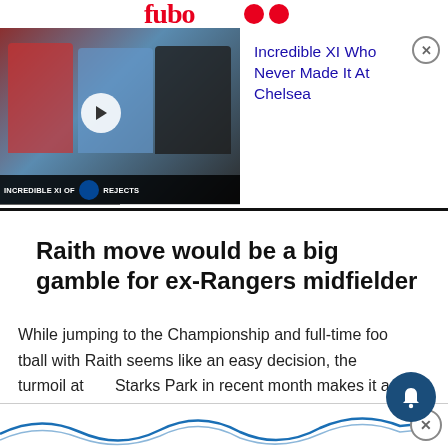[Figure (screenshot): Video thumbnail showing three football players with text 'Incredible XI Of Chelsea Rejects']
Incredible XI Who Never Made It At Chelsea
Raith move would be a big gamble for ex-Rangers midfielder
While jumping to the Championship and full-time football with Raith seems like an easy decision, the turmoil at Starks Park in recent month makes it a big gamble.